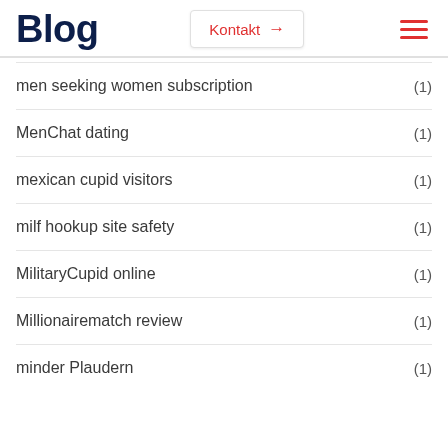Blog
men seeking women subscription (1)
MenChat dating (1)
mexican cupid visitors (1)
milf hookup site safety (1)
MilitaryCupid online (1)
Millionairematch review (1)
minder Plaudern (1)